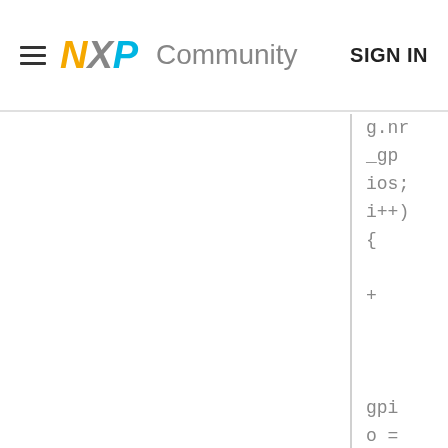NXP Community  SIGN IN
g.nr
_gpios;
i++)
{

+



gpio =
of_get
na